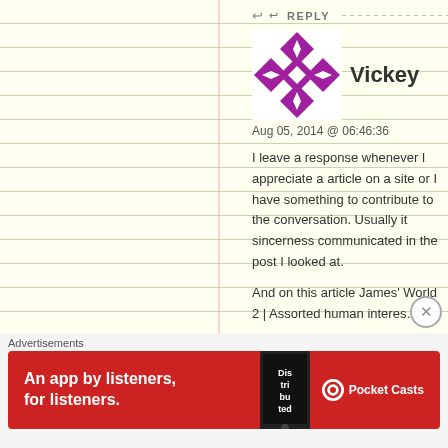↩ REPLY
[Figure (illustration): Purple and white geometric avatar icon for user Vickey]
Vickey
Aug 05, 2014 @ 06:46:36
I leave a response whenever I appreciate a article on a site or I have something to contribute to the conversation. Usually it sincerness communicated in the post I looked at.
And on this article James' World 2 | Assorted human interes…
I was excited enough to drop a leave a responsea response… questions for you if it's allright. Is it just me or does it seem like some of these responses appear like they are coming from brain d… 😛 And, if you are posting at other social sites, I would like to… Could you list every one of all your public sites like your Fac… linkedin profile?
Advertisements
[Figure (illustration): Pocket Casts advertisement banner: red background with phone showing Distributed app, text 'An app by listeners, for listeners.' and Pocket Casts logo]